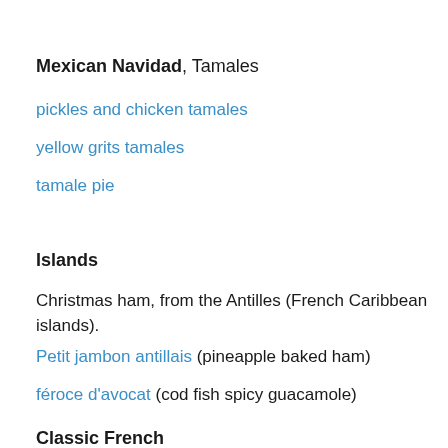Mexican Navidad, Tamales
pickles and chicken tamales
yellow grits tamales
tamale pie
Islands
Christmas ham, from the Antilles (French Caribbean islands).
Petit jambon antillais (pineapple baked ham)
féroce d'avocat (cod fish spicy guacamole)
Classic French